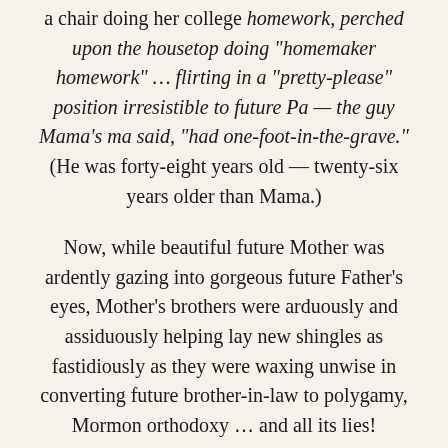a chair doing her college homework, perched upon the housetop doing "homemaker homework" … flirting in a "pretty-please" position irresistible to future Pa — the guy Mama's ma said, "had one-foot-in-the-grave." (He was forty-eight years old — twenty-six years older than Mama.)
Now, while beautiful future Mother was ardently gazing into gorgeous future Father's eyes, Mother's brothers were arduously and assiduously helping lay new shingles as fastidiously as they were waxing unwise in converting future brother-in-law to polygamy, Mormon orthodoxy … and all its lies!
The re-roofing while preaching gave gorgeous Ma...